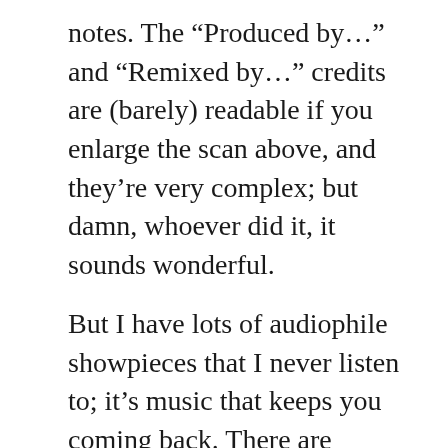notes. The “Produced by…” and “Remixed by…” credits are (barely) readable if you enlarge the scan above, and they’re very complex; but damn, whoever did it, it sounds wonderful.
But I have lots of audiophile showpieces that I never listen to; it’s music that keeps you coming back. There are eleven tracks here, seventy-plus minutes of music;